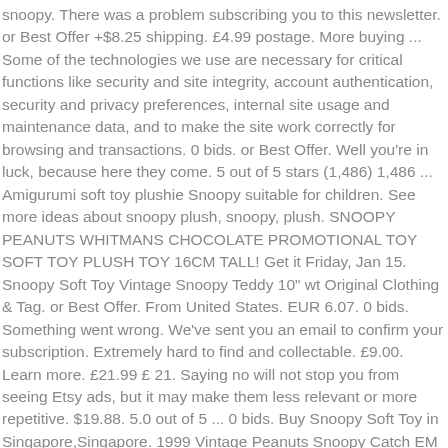snoopy. There was a problem subscribing you to this newsletter. or Best Offer +$8.25 shipping. £4.99 postage. More buying ... Some of the technologies we use are necessary for critical functions like security and site integrity, account authentication, security and privacy preferences, internal site usage and maintenance data, and to make the site work correctly for browsing and transactions. 0 bids. or Best Offer. Well you're in luck, because here they come. 5 out of 5 stars (1,486) 1,486 ... Amigurumi soft toy plushie Snoopy suitable for children. See more ideas about snoopy plush, snoopy, plush. SNOOPY PEANUTS WHITMANS CHOCOLATE PROMOTIONAL TOY SOFT TOY PLUSH TOY 16CM TALL! Get it Friday, Jan 15. Snoopy Soft Toy Vintage Snoopy Teddy 10" wt Original Clothing & Tag. or Best Offer. From United States. EUR 6.07. 0 bids. Something went wrong. We've sent you an email to confirm your subscription. Extremely hard to find and collectable. £9.00. Learn more. £21.99 £ 21. Saying no will not stop you from seeing Etsy ads, but it may make them less relevant or more repetitive. $19.88. 5.0 out of 5 ... 0 bids. Buy Snoopy Soft Toy in Singapore,Singapore. 1999 Vintage Peanuts Snoopy Catch EM Fishing Bobber Zebco Model 497 Customs services and ... FAB VINTAGE SNOOPY PLUSH SOFT TOY WITH ORIGINAL PLASTIC TAG AND RED RIBBON. Vintage Peanuts Snoopy Mini Plush